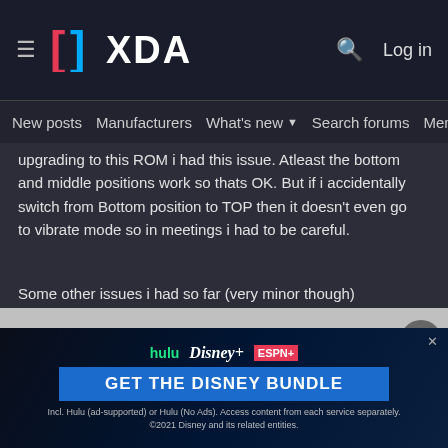XDA — Log in
New posts | Manufacturers | What's new | Search forums | Members >
upgrading to this ROM i had this issue. Atleast the bottom and middle positions work so thats OK. But if i accidentally switch from Bottom position to TOP then it doesn't even go to vibrate mode so in meetings i had to be careful.
Some other issues i had so far (very minor though)
1. Speaker phone was bot working in WhatsApp call. I could only hear from earpiece though speaker option on screen was shown activated
2. The slider issue mentioned above
3. Gmail app notifications aren't working while in background, currently this is most irritating. Unless i open app it doesn't notify. Checked all battery optimizations. Had this issue in OOS c.12 but after OOS c.17 and c.20 upd...
[Figure (advertisement): Disney Bundle advertisement banner showing Hulu, Disney+, ESPN+ logos with CTA 'GET THE DISNEY BUNDLE'. Fine print: Incl. Hulu (ad-supported) or Hulu (No Ads). Access content from each service separately. ©2021 Disney and its related entities.]